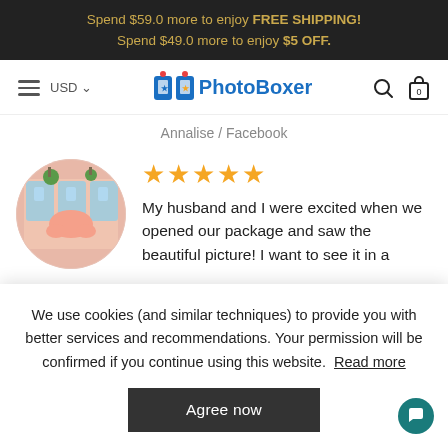Spend $59.0 more to enjoy FREE SHIPPING!
Spend $49.0 more to enjoy $5 OFF.
[Figure (logo): PhotoBoxer logo with shopping bag icons]
Annalise / Facebook
★★★★★ My husband and I were excited when we opened our package and saw the beautiful picture! I want to see it in a
We use cookies (and similar techniques) to provide you with better services and recommendations. Your permission will be confirmed if you continue using this website. Read more
Agree now